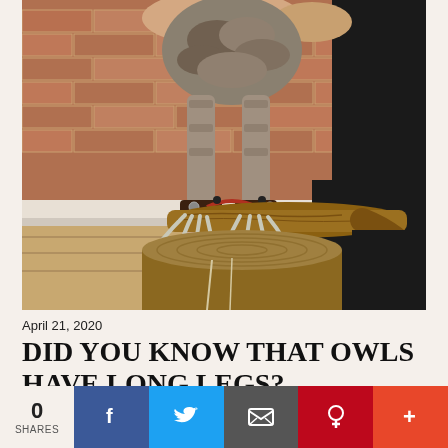[Figure (photo): Close-up photo of an owl standing on a wooden stump, showing its surprisingly long feathered legs and large talons gripping a branch. A person's hands are visible holding the owl. Background shows a brick wall interior.]
April 21, 2020
DID YOU KNOW THAT OWLS HAVE LONG LEGS?
Share   2 comments
0 SHARES